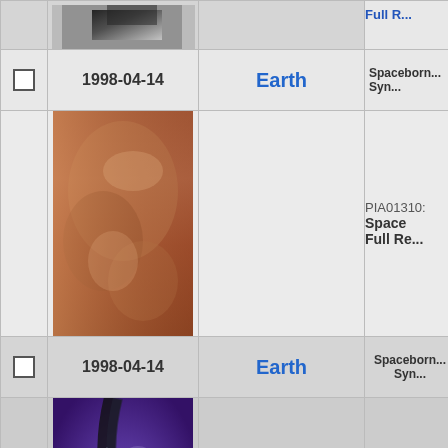|  | Date | Planet | Title/ID |
| --- | --- | --- | --- |
| ☐ | 1998-04-14 | Earth | Spaceborne Imaging Radar / Synthetic Aperture Radar |
| (image) | (image) | (image) | PIA01310: Space Full Resolution |
| ☐ | 1998-04-14 | Earth | Spaceborne Imaging Radar / Synthetic Aperture Radar |
| (image) | (image) | (image) | PIA01311: Space Full Resolution |
| ☐ | 1998-04-28 | Earth | Spaceborne Imaging Radar / Synthetic Aperture Radar |
| (image) | (image) | (image) | PIA01302: Space Full Resolution |